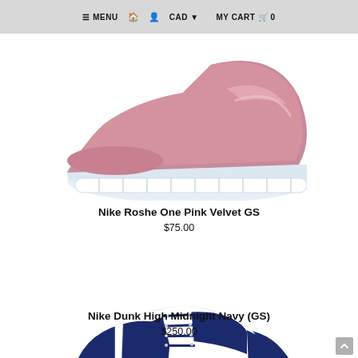≡ MENU  🏠  👤  CAD ▾   MY CART 🛒 0
[Figure (photo): Nike Roshe One Pink Velvet GS sneaker, side view, rose gold/pink metallic upper with white sole, partially cropped at top]
Nike Roshe One Pink Velvet GS
$75.00
[Figure (photo): Nike Dunk High Midnight Navy (GS) sneaker, side view, white and navy blue leather upper with black sole and navy laces]
Nike Dunk High Midnight Navy (GS)
$250.00